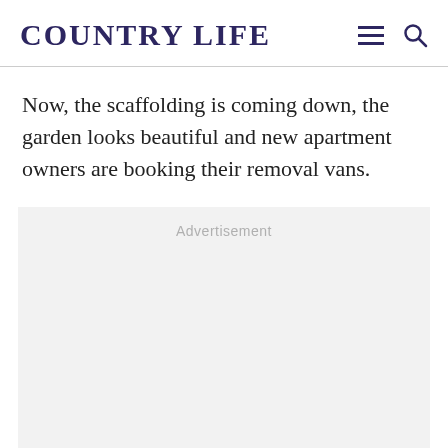COUNTRY LIFE
Now, the scaffolding is coming down, the garden looks beautiful and new apartment owners are booking their removal vans.
[Figure (other): Advertisement placeholder box with light grey background and 'Advertisement' label text centered at top]